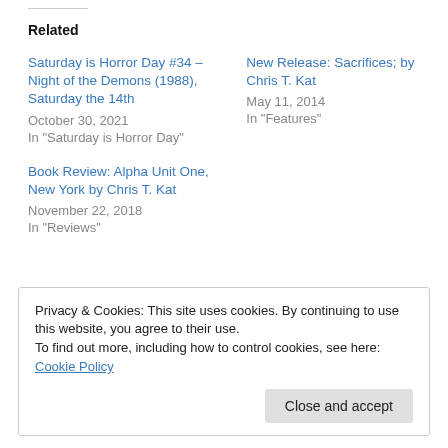Related
Saturday is Horror Day #34 – Night of the Demons (1988), Saturday the 14th
October 30, 2021
In "Saturday is Horror Day"
New Release: Sacrifices; by Chris T. Kat
May 11, 2014
In "Features"
Book Review: Alpha Unit One, New York by Chris T. Kat
November 22, 2018
In "Reviews"
Privacy & Cookies: This site uses cookies. By continuing to use this website, you agree to their use.
To find out more, including how to control cookies, see here: Cookie Policy